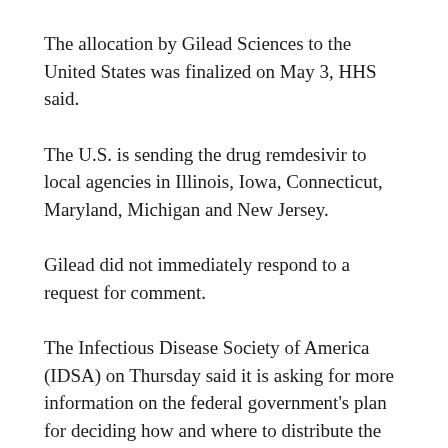The allocation by Gilead Sciences to the United States was finalized on May 3, HHS said.
The U.S. is sending the drug remdesivir to local agencies in Illinois, Iowa, Connecticut, Maryland, Michigan and New Jersey.
Gilead did not immediately respond to a request for comment.
The Infectious Disease Society of America (IDSA) on Thursday said it is asking for more information on the federal government's plan for deciding how and where to distribute the drug. The federal government began